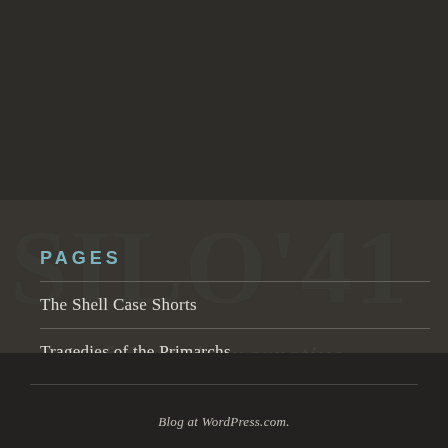PAGES
The Shell Case Shorts
Tragedies of the Primarchs
Contact SIL041
Blog at WordPress.com.